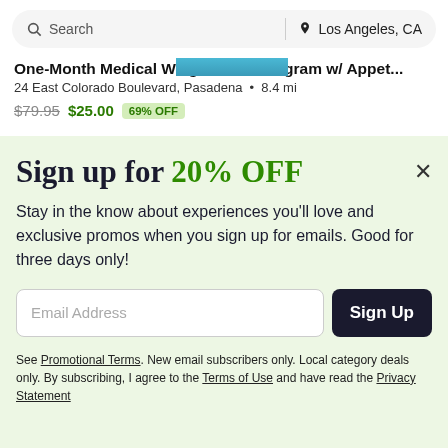Search | Los Angeles, CA
One-Month Medical Weight-Loss Program w/ Appet...
24 East Colorado Boulevard, Pasadena • 8.4 mi
$79.95  $25.00  69% OFF
Sign up for 20% OFF
Stay in the know about experiences you'll love and exclusive promos when you sign up for emails. Good for three days only!
Email Address  Sign Up
See Promotional Terms. New email subscribers only. Local category deals only. By subscribing, I agree to the Terms of Use and have read the Privacy Statement